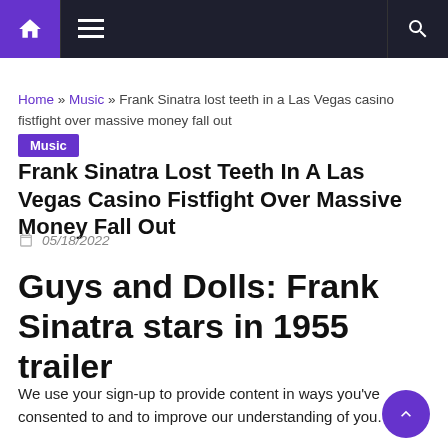Navigation bar with home, menu, and search icons
Home » Music » Frank Sinatra lost teeth in a Las Vegas casino fistfight over massive money fall out
Music
Frank Sinatra Lost Teeth In A Las Vegas Casino Fistfight Over Massive Money Fall Out
05/18/2022
Guys and Dolls: Frank Sinatra stars in 1955 trailer
We use your sign-up to provide content in ways you've consented to and to improve our understanding of you. This